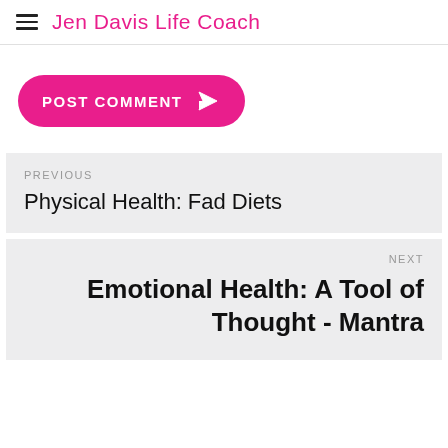Jen Davis Life Coach
POST COMMENT
PREVIOUS
Physical Health: Fad Diets
NEXT
Emotional Health: A Tool of Thought - Mantra